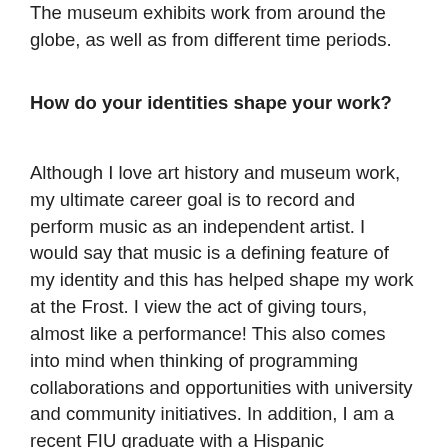The museum exhibits work from around the globe, as well as from different time periods.
How do your identities shape your work?
Although I love art history and museum work, my ultimate career goal is to record and perform music as an independent artist. I would say that music is a defining feature of my identity and this has helped shape my work at the Frost. I view the act of giving tours, almost like a performance! This also comes into mind when thinking of programming collaborations and opportunities with university and community initiatives. In addition, I am a recent FIU graduate with a Hispanic background – it is easy to relate to the FIU community! Being a young woman in the arts, it's rough out here – but the Frost encourages forward-thinking and creativity that goes against any limitations that may have been placed by society.